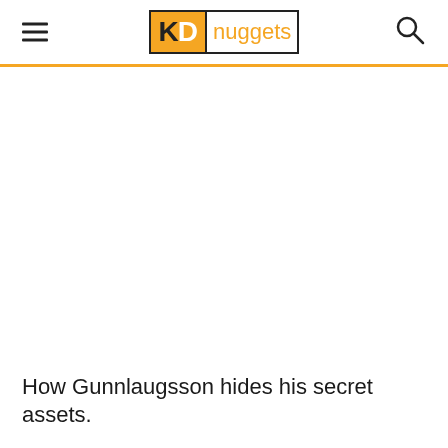KD nuggets
How Gunnlaugsson hides his secret assets.